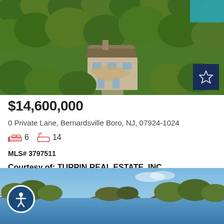[Figure (photo): Aerial view of a large estate house surrounded by dense green trees, with a driveway visible]
$14,600,000
0 Private Lane, Bernardsville Boro, NJ, 07924-1024
6 bedrooms, 14 bathrooms
MLS# 3797511
Courtesy of: TURPIN REAL ESTATE, INC.
[Figure (photo): Aerial view of a lake or reservoir surrounded by trees with hills in the background under a blue sky]